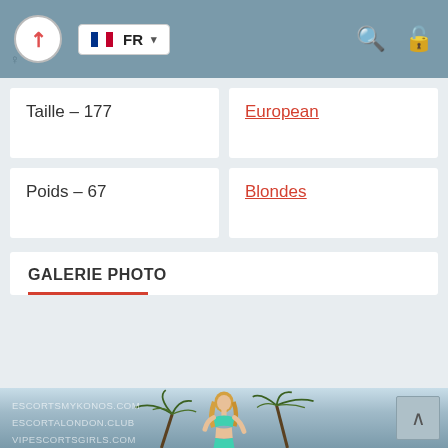FR
Taille – 177
European
Poids – 67
Blondes
GALERIE PHOTO
[Figure (photo): Blonde woman in teal bikini top standing in front of palm trees, with watermarks: ESCORTSMYKONOS.COM, ESCORTALONDON.CLUB, VIPESCORTSGIRLS.COM]